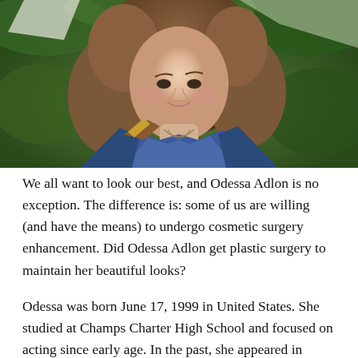[Figure (photo): Portrait photo of Odessa Adlon, a young woman with long wavy brown hair, wearing a denim jacket with brown suede accents and a colorful strap, with necklaces, standing in front of green foliage background.]
We all want to look our best, and Odessa Adlon is no exception. The difference is: some of us are willing (and have the means) to undergo cosmetic surgery enhancement. Did Odessa Adlon get plastic surgery to maintain her beautiful looks?
Odessa was born June 17, 1999 in United States. She studied at Champs Charter High School and focused on acting since early age. In the past, she appeared in Nashville, Ladyworld, and